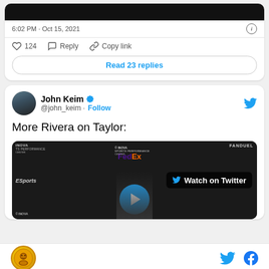[Figure (screenshot): Top portion of a tweet card showing a dark image, timestamp '6:02 PM · Oct 15, 2021', info icon, heart/like count 124, Reply button, Copy link button, and 'Read 23 replies' button]
6:02 PM · Oct 15, 2021
124   Reply   Copy link
Read 23 replies
[Figure (screenshot): Tweet by John Keim (@john_keim) with verified badge and Follow link, Twitter bird icon top right, tweet text 'More Rivera on Taylor:', and embedded video thumbnail showing FedEx/INOVA Sports Performance Center backdrop with 'Watch on Twitter' overlay and blue play button circle]
John Keim
@john_keim · Follow
More Rivera on Taylor:
Watch on Twitter
Footer bar with site logo, Twitter icon, and Facebook icon